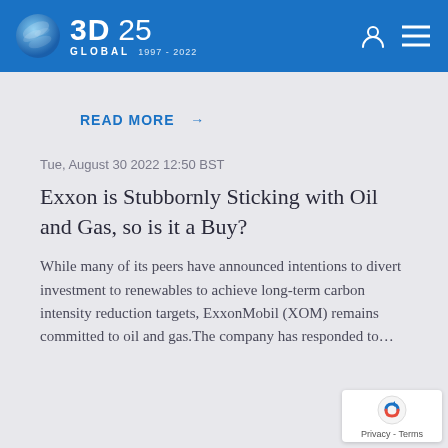[Figure (logo): 3D Global 25 logo with globe icon and navigation icons on blue header bar]
READ MORE →
Tue, August 30 2022 12:50 BST
Exxon is Stubbornly Sticking with Oil and Gas, so is it a Buy?
While many of its peers have announced intentions to divert investment to renewables to achieve long-term carbon intensity reduction targets, ExxonMobil (XOM) remains committed to oil and gas.The company has responded to…
[Figure (logo): reCAPTCHA widget with Privacy - Terms text]